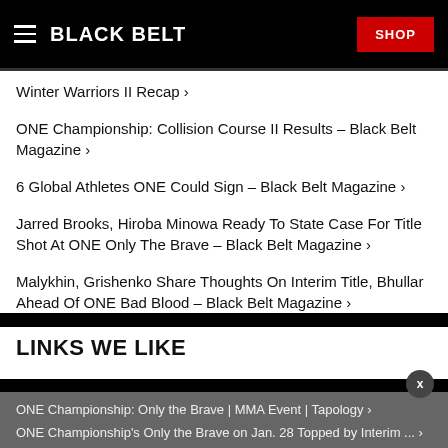BLACK BELT | SHOP
Winter Warriors II Recap ›
ONE Championship: Collision Course II Results - Black Belt Magazine ›
6 Global Athletes ONE Could Sign - Black Belt Magazine ›
Jarred Brooks, Hiroba Minowa Ready To State Case For Title Shot At ONE Only The Brave - Black Belt Magazine ›
Malykhin, Grishenko Share Thoughts On Interim Title, Bhullar Ahead Of ONE Bad Blood - Black Belt Magazine ›
LINKS WE LIKE
ONE Championship: Only the Brave | MMA Event | Tapology ›
ONE Championship's Only the Brave on Jan. 28 Topped by Interim ... ›